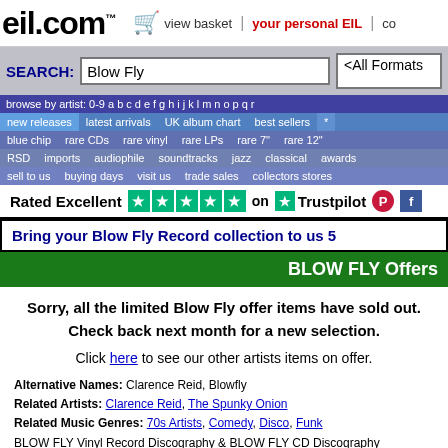eil.com™  view basket | your personal EIL | co
SEARCH: Blow Fly  <All Formats>
browse by artist: 0-9 a b c d e f g h i j k l m n o p q r
new releases  latest arrivals  UK album chart  best sellers
blue chip  rare CDs  rare vinyl  rare LPs  rare 7"  rare 12"
RSD  imports  audiophile  soundtracks  jazz  classical  awards
sell to us  buying days  visit us  trade sales  collectors stores
[Figure (other): Trustpilot rated excellent 5 stars, Pinterest and Facebook icons]
Bring your Blow Fly Record collection to us 5
BLOW FLY Offers
Sorry, all the limited Blow Fly offer items have sold out. Check back next month for a new selection.
Click here to see our other artists items on offer.
Alternative Names: Clarence Reid, Blowfly
Related Artists: Clarence Reid, The Spunky Onion
Related Music Genres: 70s Artists, Comedy, Disco, Funk
BLOW FLY Vinyl Record Discography & BLOW FLY CD Discography
[Figure (other): Trustpilot Excellent rating with green stars at bottom of page]